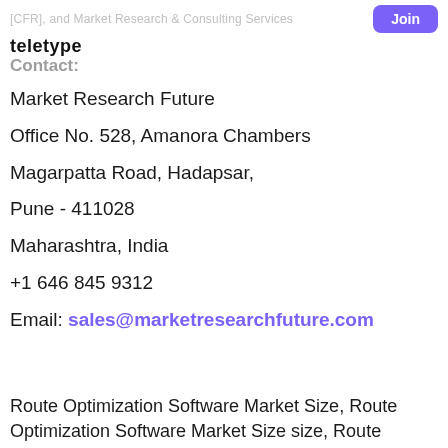[CFR], and Market Research & Consulting Services
[Figure (logo): Teletype logo in bold black lowercase text]
Contact:
Market Research Future
Office No. 528, Amanora Chambers
Magarpatta Road, Hadapsar,
Pune - 411028
Maharashtra, India
+1 646 845 9312
Email: sales@marketresearchfuture.com
Route Optimization Software Market Size, Route Optimization Software Market Size size, Route